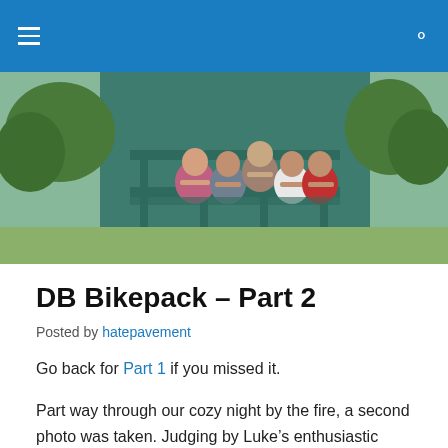≡  🔍
[Figure (photo): Group of five young people leaning on a green wooden structure outdoors, trees and grass in background.]
DB Bikepack – Part 2
Posted by hatepavement
Go back for Part 1 if you missed it.
Part way through our cozy night by the fire, a second photo was taken. Judging by Luke's enthusiastic smile he